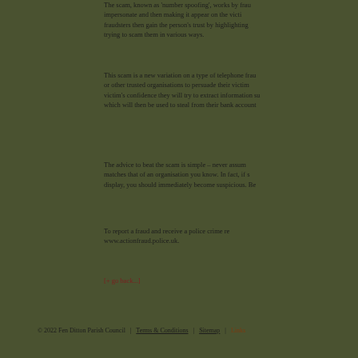The scam, known as 'number spoofing', works by frau impersonate and then making it appear on the victi fraudsters then gain the person's trust by highlighting trying to scam them in various ways.
This scam is a new variation on a type of telephone fra or other trusted organisations to persuade their victim victim's confidence they will try to extract information su which will then be used to steal from their bank account
The advice to beat the scam is simple – never assum matches that of an organisation you know. In fact, if s display, you should immediately become suspicious. Be
To report a fraud and receive a police crime re www.actionfraud.police.uk.
[+ go back...]
© 2022 Fen Ditton Parish Council  |  Terms & Conditions  |  Sitemap  |  Links